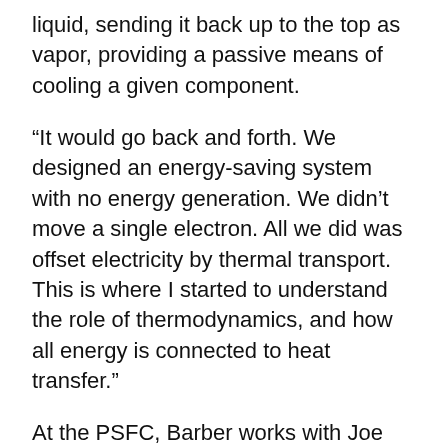thermal energy from the source would then boil the liquid, sending it back up to the top as vapor, providing a passive means of cooling a given component.
“It would go back and forth. We designed an energy-saving system with no energy generation. We didn’t move a single electron. All we did was offset electricity by thermal transport. This is where I started to understand the role of thermodynamics, and how all energy is connected to heat transfer.”
At the PSFC, Barber works with Joe Minervini, head of the Magnets and Cryogenics Division. The group is trying to integrate high temperature superconductors (HTS) into field coils for a new generation of fusion devices that could be smaller and less expensive